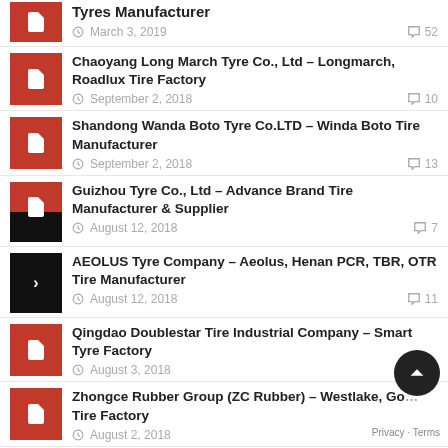Tyres Manufacturer — March 3, 2019 — 52 comments
Chaoyang Long March Tyre Co., Ltd – Longmarch, Roadlux Tire Factory — September 2, 2018 — 10 comments
Shandong Wanda Boto Tyre Co.LTD – Winda Boto Tire Manufacturer — September 2, 2018 — 13 comments
Guizhou Tyre Co., Ltd – Advance Brand Tire Manufacturer & Supplier — August 12, 2018 — 7 comments
AEOLUS Tyre Company – Aeolus, Henan PCR, TBR, OTR Tire Manufacturer — August 12, 2018 — 11 comments
Qingdao Doublestar Tire Industrial Company – Smart Tyre Factory — August 3, 2018 — 2 comments
Zhongce Rubber Group (ZC Rubber) – Westlake, Go Tire Factory — August 2, 2018
Weifang Yuelang Rubber Co., Ltd – Constancy Tyre